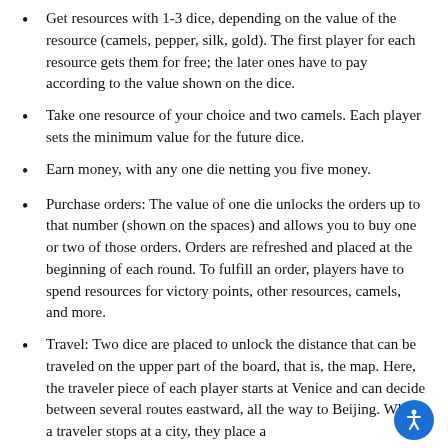Get resources with 1-3 dice, depending on the value of the resource (camels, pepper, silk, gold). The first player for each resource gets them for free; the later ones have to pay according to the value shown on the dice.
Take one resource of your choice and two camels. Each player sets the minimum value for the future dice.
Earn money, with any one die netting you five money.
Purchase orders: The value of one die unlocks the orders up to that number (shown on the spaces) and allows you to buy one or two of those orders. Orders are refreshed and placed at the beginning of each round. To fulfill an order, players have to spend resources for victory points, other resources, camels, and more.
Travel: Two dice are placed to unlock the distance that can be traveled on the upper part of the board, that is, the map. Here, the traveler piece of each player starts at Venice and can decide between several routes eastward, all the way to Beijing. When a traveler stops at a city, they place a marker there to claim the resources at different cities...